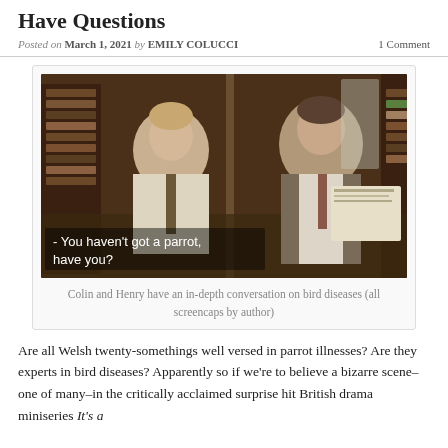Have Questions
Posted on March 1, 2021 by EMILY COLUCCI   1 Comment
[Figure (screenshot): Scene from a British drama miniseries showing two men in a library/archive room looking at documents. Subtitle reads: '- You haven't got a parrot, have you?']
Colin and Henry have an in-depth conversation on bird diseases (all screencaps by author)
Are all Welsh twenty-somethings well versed in parrot illnesses? Are they experts in bird diseases? Apparently so if we're to believe a bizarre scene–one of many–in the critically acclaimed surprise hit British drama miniseries It's a